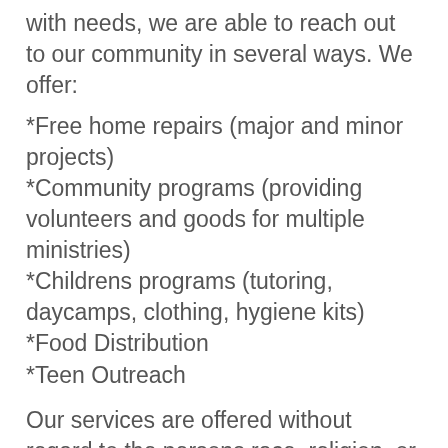with needs, we are able to reach out to our community in several ways. We offer:
*Free home repairs (major and minor projects)
*Community programs (providing volunteers and goods for multiple ministries)
*Childrens programs (tutoring, daycamps, clothing, hygiene kits)
*Food Distribution
*Teen Outreach
Our services are offered without regard to the persons race, religion, or social standing. By providing these services, and connecting churches with needs here in our community, we hope to nurture positive relationships that will continue to benefit the community here at Big Creek, in addition to providing churches a place to return and invest in this community year after